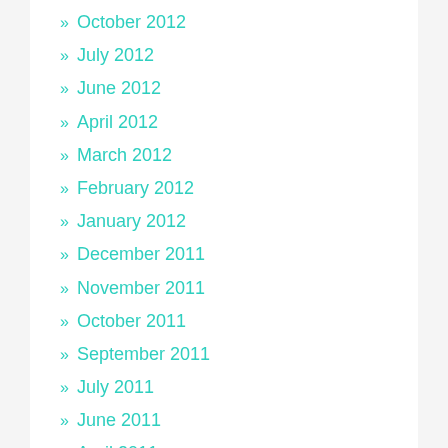» October 2012
» July 2012
» June 2012
» April 2012
» March 2012
» February 2012
» January 2012
» December 2011
» November 2011
» October 2011
» September 2011
» July 2011
» June 2011
» April 2011
» March 2011